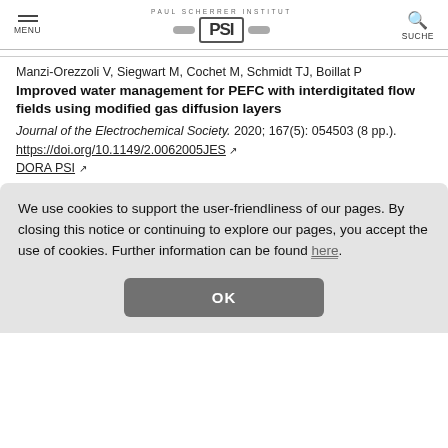MENU | PAUL SCHERRER INSTITUT PSI | SUCHE
Manzi-Orezzoli V, Siegwart M, Cochet M, Schmidt TJ, Boillat P
Improved water management for PEFC with interdigitated flow fields using modified gas diffusion layers
Journal of the Electrochemical Society. 2020; 167(5): 054503 (8 pp.). https://doi.org/10.1149/2.0062005JES
DORA PSI
We use cookies to support the user-friendliness of our pages. By closing this notice or continuing to explore our pages, you accept the use of cookies. Further information can be found here.
OK